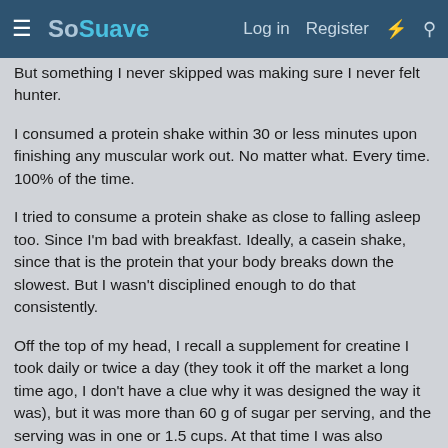≡ SoSuave   Log in   Register   ⚡   🔍
But something I never skipped was making sure I never felt hunter.
I consumed a protein shake within 30 or less minutes upon finishing any muscular work out. No matter what. Every time. 100% of the time.
I tried to consume a protein shake as close to falling asleep too. Since I'm bad with breakfast. Ideally, a casein shake, since that is the protein that your body breaks down the slowest. But I wasn't disciplined enough to do that consistently.
Off the top of my head, I recall a supplement for creatine I took daily or twice a day (they took it off the market a long time ago, I don't have a clue why it was designed the way it was), but it was more than 60 g of sugar per serving, and the serving was in one or 1.5 cups. At that time I was also incredibly lean. Like 120, 4% body fat (tested), and sleep